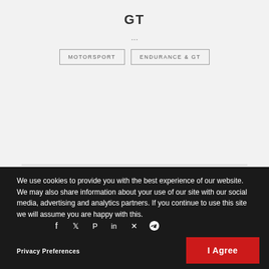GT
...
MOTORSPORT
ENDURANCE & GT
We use cookies to provide you with the best experience of our website. We may also share information about your use of our site with our social media, advertising and analytics partners. If you continue to use this site we will assume you are happy with this.
Privacy Preferences
I Agree